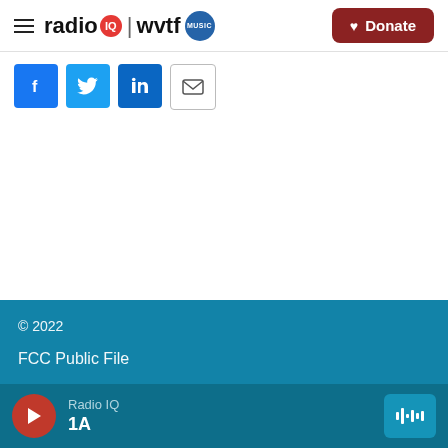radio IQ | wvtf MUSIC  Donate
[Figure (infographic): Social share buttons: Facebook (blue), Twitter (blue), LinkedIn (blue), Email (outlined)]
© 2022
FCC Public File
Radio IQ  1A
[Figure (infographic): Audio player bar with red play button, station name Radio IQ, show name 1A, and waveform icon]